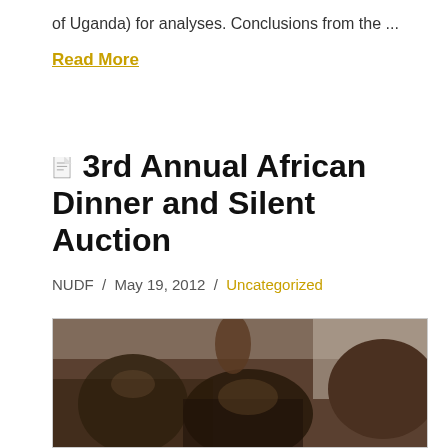of Uganda) for analyses. Conclusions from the ...
Read More
3rd Annual African Dinner and Silent Auction
NUDF / May 19, 2012 / Uncategorized
[Figure (photo): Group of African children, close-up photograph showing faces and raised hands in background]